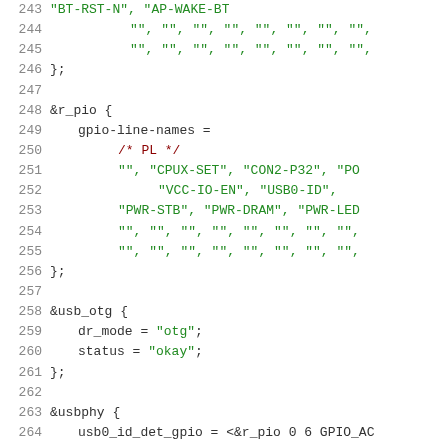Code listing lines 243-264, device tree source code showing gpio line names, r_pio, usb_otg, and usbphy node configurations
243: "BT-RST-N", "AP-WAKE-BT
244: "", "", "", "", "", "", "", "",
245: "", "", "", "", "", "", "", "",
246: };
247: (blank)
248: &r_pio {
249:     gpio-line-names =
250:         /* PL */
251:         "", "CPUX-SET", "CON2-P32", "PO
252:             "VCC-IO-EN", "USB0-ID",
253:         "PWR-STB", "PWR-DRAM", "PWR-LED
254:         "", "", "", "", "", "", "", "",
255:         "", "", "", "", "", "", "", "",
256: };
257: (blank)
258: &usb_otg {
259:     dr_mode = "otg";
260:     status = "okay";
261: };
262: (blank)
263: &usbphy {
264:     usb0_id_det_gpio = <&r_pio 0 6 GPIO_AC